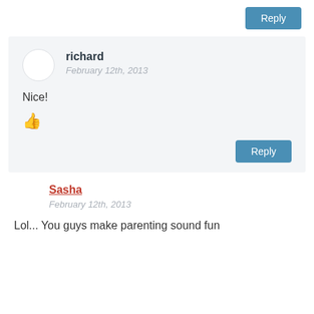Reply
richard
February 12th, 2013
Nice!
[Figure (illustration): Thumbs up icon]
Reply
Sasha
February 12th, 2013
Lol... You guys make parenting sound fun